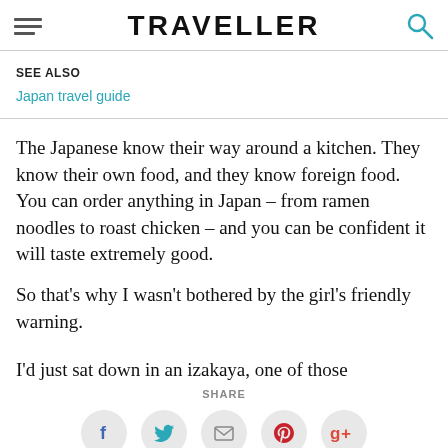TRAVELLER
SEE ALSO
Japan travel guide
The Japanese know their way around a kitchen. They know their own food, and they know foreign food. You can order anything in Japan – from ramen noodles to roast chicken – and you can be confident it will taste extremely good.
So that's why I wasn't bothered by the girl's friendly warning.
I'd just sat down in an izakaya, one of those
SHARE